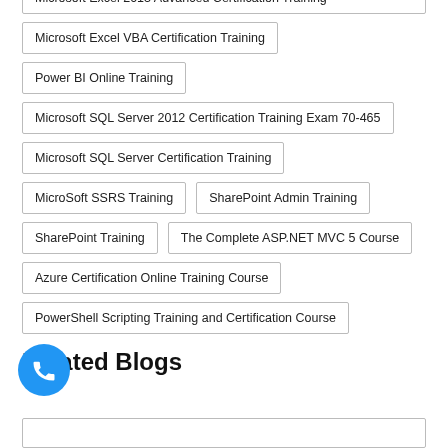Microsoft Excel 2013 Advanced Certification Training
Microsoft Excel VBA Certification Training
Power BI Online Training
Microsoft SQL Server 2012 Certification Training Exam 70-465
Microsoft SQL Server Certification Training
MicroSoft SSRS Training
SharePoint Admin Training
SharePoint Training
The Complete ASP.NET MVC 5 Course
Azure Certification Online Training Course
PowerShell Scripting Training and Certification Course
Related Blogs